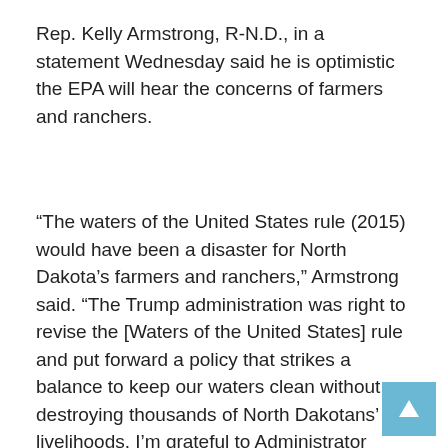Rep. Kelly Armstrong, R-N.D., in a statement Wednesday said he is optimistic the EPA will hear the concerns of farmers and ranchers.
“The waters of the United States rule (2015) would have been a disaster for North Dakota’s farmers and ranchers,” Armstrong said. “The Trump administration was right to revise the [Waters of the United States] rule and put forward a policy that strikes a balance to keep our waters clean without destroying thousands of North Dakotans’ livelihoods. I’m grateful to Administrator Regan for coming to North Dakota and listening to our concerns with this rule, and I recommend the Biden government to take into account the damage to our communities that moving back to failed long-term policies could cause.”